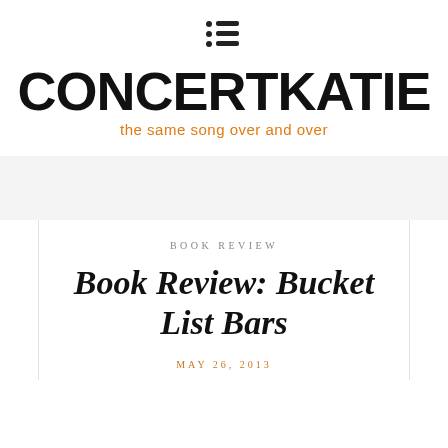[Figure (logo): Menu icon: three dots and three horizontal lines (hamburger/list icon) in dark gray]
CONCERTKATIE
the same song over and over
BOOK REVIEW
Book Review: Bucket List Bars
MAY 26, 2013